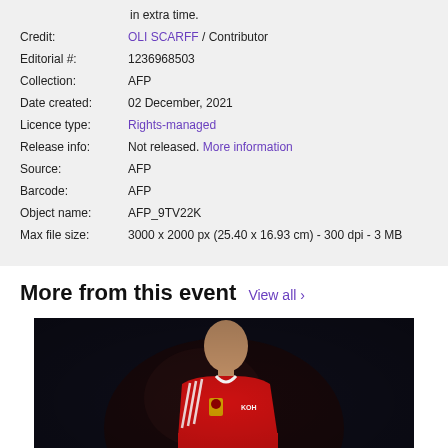in extra time.
Credit: OLI SCARFF / Contributor
Editorial #: 1236968503
Collection: AFP
Date created: 02 December, 2021
Licence type: Rights-managed
Release info: Not released. More information
Source: AFP
Barcode: AFP
Object name: AFP_9TV22K
Max file size: 3000 x 2000 px (25.40 x 16.93 cm) - 300 dpi - 3 MB
More from this event  View all >
[Figure (photo): Manchester United player in red jersey, close-up portrait]